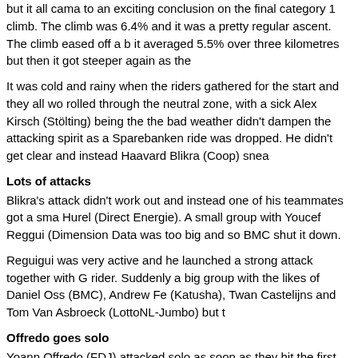but it all cama to an exciting conclusion on the final category 1 climb. The climb was 6.4% and it was a pretty regular ascent. The climb eased off a bit, it averaged 5.5% over three kilometres but then it got steeper again as the
It was cold and rainy when the riders gathered for the start and they all wo... rolled through the neutral zone, with a sick Alex Kirsch (Stölting) being the... the bad weather didn't dampen the attacking spirit as a Sparebanken ride... was dropped. He didn't get clear and instead Haavard Blikra (Coop) snea...
Lots of attacks
Blikra's attack didn't work out and instead one of his teammates got a sma... Hurel (Direct Energie). A small group with Youcef Reggui (Dimension Data... was too big and so BMC shut it down.
Reguigui was very active and he launched a strong attack together with G... rider. Suddenly a big group with the likes of Daniel Oss (BMC), Andrew Fe... (Katusha), Twan Castelijns and Tom Van Asbroeck (LottoNL-Jumbo) but t...
Offredo goes solo
Yoann Offredo (FDJ) attacked solo as soon as they hit the first climb and i... dropped. While he tried to build an advantage, Chris Opie (ONE), Michael Guardini (Astana), Kristian Aasvold (Sparebanken), Max Kørner (Ringerik... Melsen (Wanty) were distanced. The latter who wore the mountains jersey... abandon.
The Sky pair of Sebastian Henao and Ben Swift latched onto Oss and Luk... 18) when they bridged the gap to Offredo but Haller soon chased them do... from Offredo, Kazakh champion Arman Kamyshev (Astana) made a solo r... advantage.